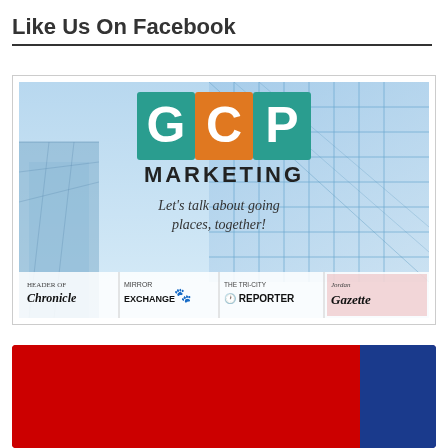Like Us On Facebook
[Figure (logo): GCP Marketing promotional image with building glass facade background. Features GCP logo with teal G, orange C, teal P squares, 'MARKETING' text below, tagline 'Let’s talk about going places, together!' and four newspaper logos at bottom: Chronicle, Mirror Exchange, The Tri-City Reporter, Jordan Gazette.]
[Figure (photo): Partial bottom banner in red and blue colors, cropped at page edge.]